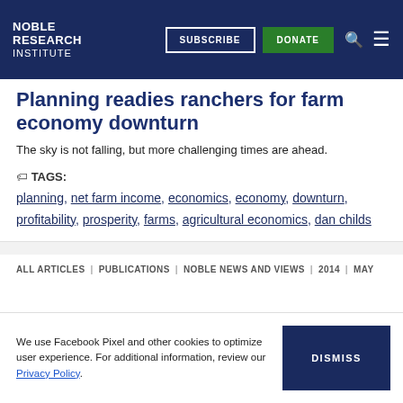NOBLE RESEARCH INSTITUTE | SUBSCRIBE | DONATE
Planning readies ranchers for farm economy downturn
The sky is not falling, but more challenging times are ahead.
TAGS: planning, net farm income, economics, economy, downturn, profitability, prosperity, farms, agricultural economics, dan childs
ALL ARTICLES | PUBLICATIONS | NOBLE NEWS AND VIEWS | 2014 | MAY
We use Facebook Pixel and other cookies to optimize user experience. For additional information, review our Privacy Policy.